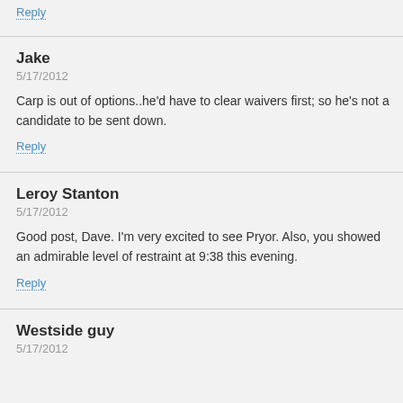Reply
Jake
5/17/2012
Carp is out of options..he'd have to clear waivers first; so he's not a candidate to be sent down.
Reply
Leroy Stanton
5/17/2012
Good post, Dave. I'm very excited to see Pryor. Also, you showed an admirable level of restraint at 9:38 this evening.
Reply
Westside guy
5/17/2012